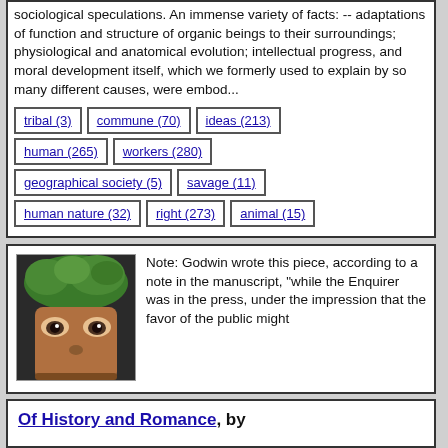sociological speculations. An immense variety of facts: -- adaptations of function and structure of organic beings to their surroundings; physiological and anatomical evolution; intellectual progress, and moral development itself, which we formerly used to explain by so many different causes, were embod...
tribal (3)
commune (70)
ideas (213)
human (265)
workers (280)
geographical society (5)
savage (11)
human nature (32)
right (273)
animal (15)
[Figure (photo): Photo of a face or sculpture with foliage on top, styled as eyes looking forward]
Note: Godwin wrote this piece, according to a note in the manuscript, "while the Enquirer was in the press, under the impression that the favor of the public might
Of History and Romance, by